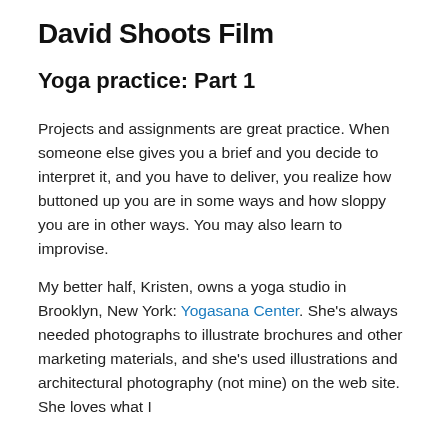David Shoots Film
Yoga practice: Part 1
Projects and assignments are great practice. When someone else gives you a brief and you decide to interpret it, and you have to deliver, you realize how buttoned up you are in some ways and how sloppy you are in other ways. You may also learn to improvise.
My better half, Kristen, owns a yoga studio in Brooklyn, New York: Yogasana Center. She's always needed photographs to illustrate brochures and other marketing materials, and she's used illustrations and architectural photography (not mine) on the web site. She loves what I